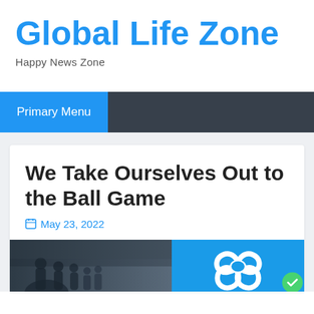Global Life Zone
Happy News Zone
Primary Menu
We Take Ourselves Out to the Ball Game
May 23, 2022
[Figure (photo): Two side-by-side images: left shows black and white photo of baseball players/crowd, right shows a blue-tinted image of a pretzel or ring-shaped food item with a decorative badge/icon in the corner]